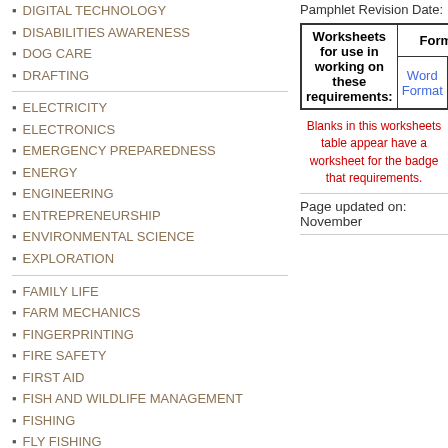DIGITAL TECHNOLOGY
DISABILITIES AWARENESS
DOG CARE
DRAFTING
ELECTRICITY
ELECTRONICS
EMERGENCY PREPAREDNESS
ENERGY
ENGINEERING
ENTREPRENEURSHIP
ENVIRONMENTAL SCIENCE
EXPLORATION
FAMILY LIFE
FARM MECHANICS
FINGERPRINTING
FIRE SAFETY
FIRST AID
FISH AND WILDLIFE MANAGEMENT
FISHING
FLY FISHING
FORESTRY
GAME DESIGN
GARDENING
GENEALOGY
GEOCACHING
Pamphlet Revision Date:
| Worksheets for use in working on these requirements: | Format |
| --- | --- |
|  | Word Format |
Blanks in this worksheets table appear have a worksheet for the badge that requirements.
Page updated on: November